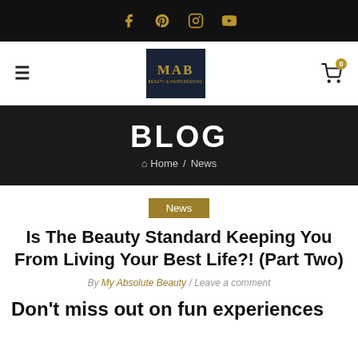Social icons: Facebook, Pinterest, Instagram, YouTube
[Figure (logo): MAB (My Absolute Beauty) logo in navy box with gold text, with hamburger menu on left and shopping cart with badge 0 on right]
BLOG
Home / News
News
Is The Beauty Standard Keeping You From Living Your Best Life?! (Part Two)
By My Absolute Beauty / Leave a comment
Don't miss out on fun experiences